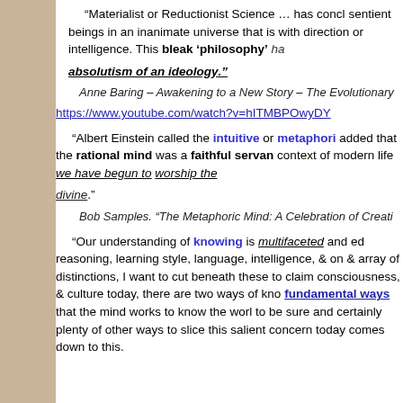“Materialist or Reductionist Science … has concluded that we are sentient beings in an inanimate universe that is without direction or intelligence. This bleak ‘philosophy’ has become the absolutism of an ideology.”
Anne Baring – Awakening to a New Story – The Evolutionary…
https://www.youtube.com/watch?v=hITMBPOwyDY
“Albert Einstein called the intuitive or metaphoric mind… added that the rational mind was a faithful servant… context of modern life we have begun to worship the divine.”
Bob Samples. “The Metaphoric Mind: A Celebration of Creative…
"Our understanding of knowing is multifaceted and ed… reasoning, learning style, language, intelligence, & on &… array of distinctions, I want to cut beneath these to claim… consciousness, & culture today, there are two ways of kno… fundamental ways that the mind works to know the wor… to be sure and certainly plenty of other ways to slice this… salient concern today comes down to this.